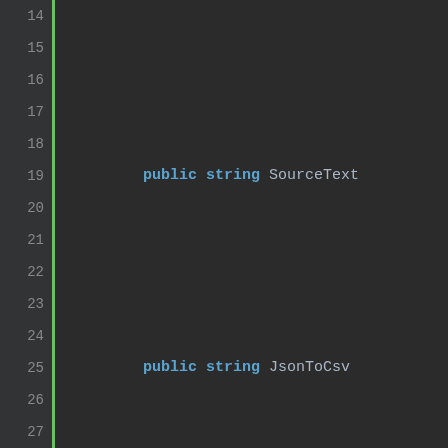[Figure (screenshot): Code editor screenshot showing C# source code lines 14-37, with syntax highlighting: keywords in bold teal/blue, other code in light gray, line numbers in gray gutter with green left border, dark background IDE theme.]